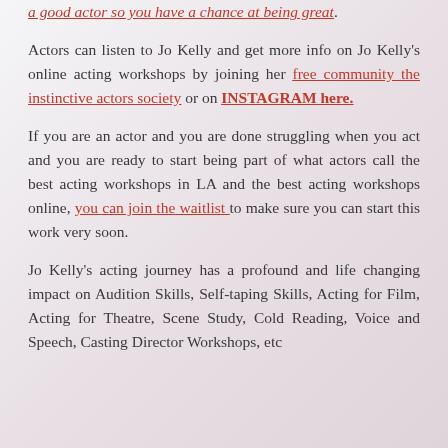a good actor so you have a chance at being great. Actors can listen to Jo Kelly and get more info on Jo Kelly's online acting workshops by joining her free community the instinctive actors society or on INSTAGRAM here. If you are an actor and you are done struggling when you act and you are ready to start being part of what actors call the best acting workshops in LA and the best acting workshops online, you can join the waitlist to make sure you can start this work very soon. Jo Kelly's acting journey has a profound and life changing impact on Audition Skills, Self-taping Skills, Acting for Film, Acting for Theatre, Scene Study, Cold Reading, Voice and Speech, Casting Director Workshops, etc